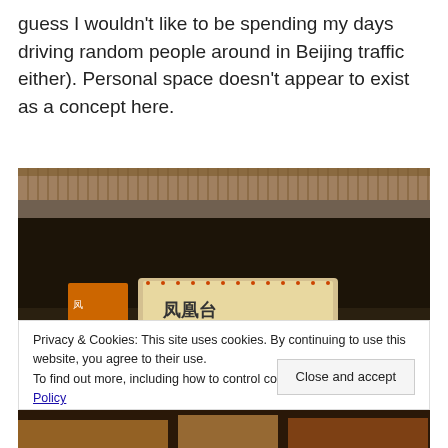guess I wouldn't like to be spending my days driving random people around in Beijing traffic either). Personal space doesn't appear to exist as a concept here.
[Figure (photo): Photo of a street scene in Beijing, showing an overpass or elevated structure at the top and a sign with Chinese characters illuminated at bottom, dark urban setting at night]
Privacy & Cookies: This site uses cookies. By continuing to use this website, you agree to their use.
To find out more, including how to control cookies, see here: Cookie Policy
Close and accept
[Figure (photo): Bottom strip of a photo showing food or a restaurant scene]